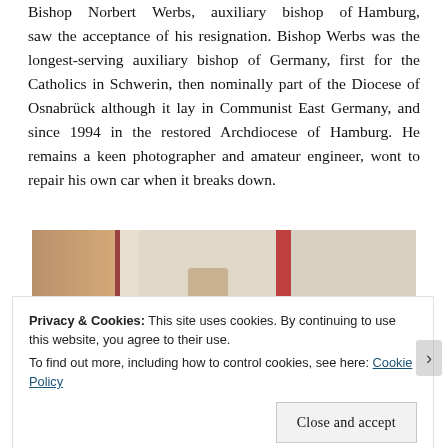Bishop Norbert Werbs, auxiliary bishop of Hamburg, saw the acceptance of his resignation. Bishop Werbs was the longest-serving auxiliary bishop of Germany, first for the Catholics in Schwerin, then nominally part of the Diocese of Osnabrück although it lay in Communist East Germany, and since 1994 in the restored Archdiocese of Hamburg. He remains a keen photographer and amateur engineer, wont to repair his own car when it breaks down.
[Figure (photo): Partial photo showing a person holding a camera and another figure, with ornate background decor, partially obscured by cookie banner.]
Privacy & Cookies: This site uses cookies. By continuing to use this website, you agree to their use.
To find out more, including how to control cookies, see here: Cookie Policy
Close and accept